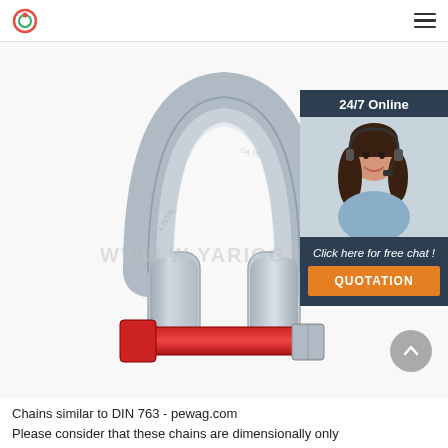[Figure (photo): A galvanized steel bow shackle with a red pin/bolt, photographed on white background. Watermark text visible: WWW.WAYARIGGING.]
[Figure (screenshot): Chat widget overlay showing '24/7 Online', agent photo, 'Click here for free chat!', and QUOTATION button]
Chains similar to DIN 763 - pewag.com
Please consider that these chains are dimensionally only